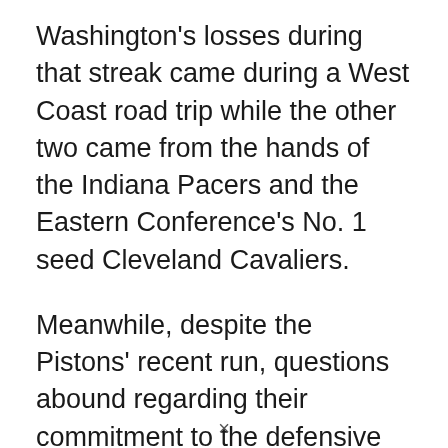Washington's losses during that streak came during a West Coast road trip while the other two came from the hands of the Indiana Pacers and the Eastern Conference's No. 1 seed Cleveland Cavaliers.
Meanwhile, despite the Pistons' recent run, questions abound regarding their commitment to the defensive side of the ball. A unit that was, at times, suffocating during the season's first 10 games, has shown signs of complete breakdown of late, even in victory. On Saturday against the Philadelphia 76ers, the Pistons gave up 57 first half points and trailed
×